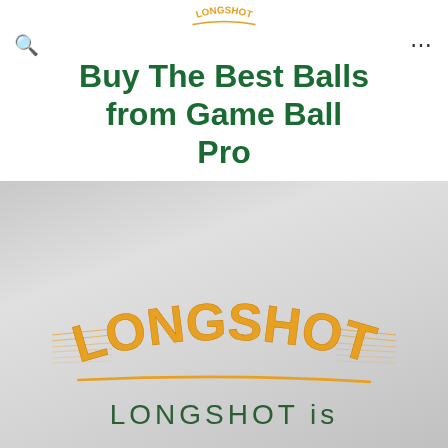LONGSHOT
Buy The Best Balls from Game Ball Pro
[Figure (logo): LONGSHOT brand logo with arched golden/yellow text and horizontal speed lines, underline swoosh, on a grey gradient background, with 'LONGSHOT is' text at bottom]